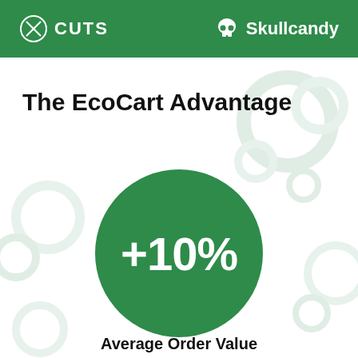CUTS | Skullcandy
The EcoCart Advantage
[Figure (infographic): Large green circle with white text '+10%' representing EcoCart Advantage metric]
Average Order Value